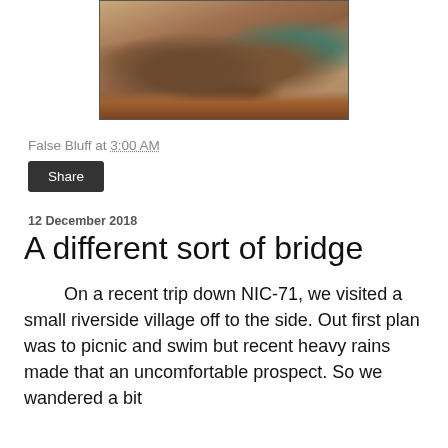[Figure (photo): Photograph of horses standing in a muddy outdoor area near a green gate or fence, with red-brown earth and foliage visible.]
False Bluff at 3:00 AM
Share
12 December 2018
A different sort of bridge
On a recent trip down NIC-71, we visited a small riverside village off to the side.  Out first plan was to picnic and swim but recent heavy rains made that an uncomfortable prospect.  So we wandered a bit